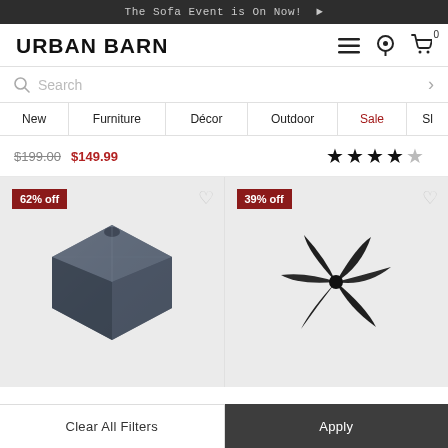The Sofa Event is On Now! ▶
[Figure (logo): Urban Barn logo — bold sans-serif wordmark]
Search
New | Furniture | Décor | Outdoor | Sale | S…
$199.00  $149.99  ★★★★½
[Figure (photo): Dark grey hexagonal geometric vase/object on light grey background with 62% off badge]
[Figure (photo): Black star-shaped flower decorative sculpture on light grey background with 39% off badge]
Clear All Filters
Apply